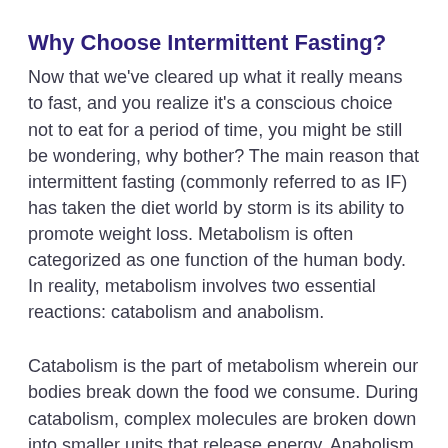Why Choose Intermittent Fasting?
Now that we've cleared up what it really means to fast, and you realize it's a conscious choice not to eat for a period of time, you might be still be wondering, why bother? The main reason that intermittent fasting (commonly referred to as IF) has taken the diet world by storm is its ability to promote weight loss. Metabolism is often categorized as one function of the human body. In reality, metabolism involves two essential reactions: catabolism and anabolism.
Catabolism is the part of metabolism wherein our bodies break down the food we consume. During catabolism, complex molecules are broken down into smaller units that release energy. Anabolism then uses that energy to begin the process of rebuilding and repairing, healing, or growing new cells and tissues.